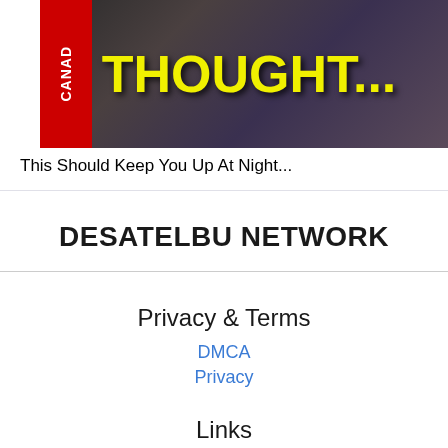[Figure (screenshot): Thumbnail image with dark background showing 'THOUGHT...' text in large yellow bold font, with a red Canada badge on the left side]
This Should Keep You Up At Night...
DESATELBU NETWORK
Privacy & Terms
DMCA
Privacy
Links
© Copyright : youtube.com